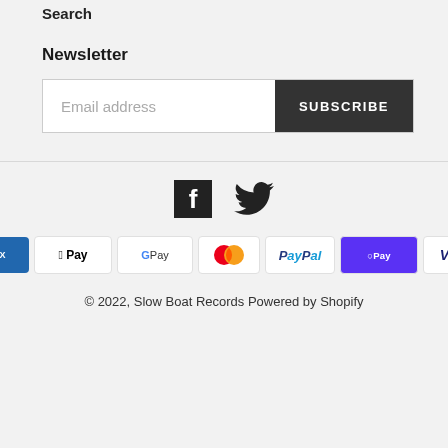Search
Newsletter
[Figure (screenshot): Email address input field with SUBSCRIBE button]
[Figure (infographic): Social media icons: Facebook and Twitter]
[Figure (infographic): Payment method icons: American Express, Apple Pay, Google Pay, Mastercard, PayPal, Shop Pay, Visa]
© 2022, Slow Boat Records Powered by Shopify